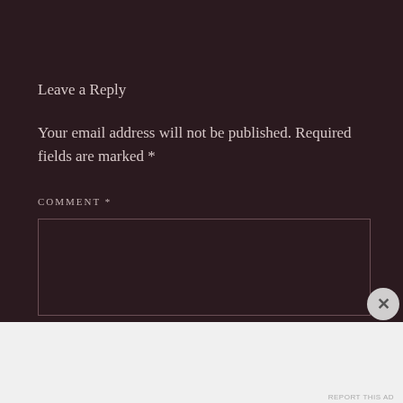Leave a Reply
Your email address will not be published. Required fields are marked *
COMMENT *
[Figure (other): Empty comment text area input box with dark background and light border]
Advertisements
Getting your team on the same page is easy. And free.